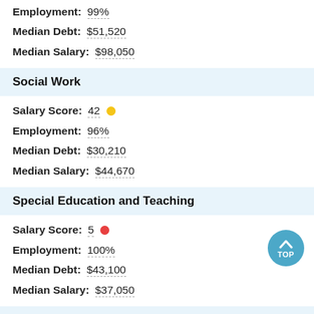Employment: 99%
Median Debt: $51,520
Median Salary: $98,050
Social Work
Salary Score: 42
Employment: 96%
Median Debt: $30,210
Median Salary: $44,670
Special Education and Teaching
Salary Score: 5
Employment: 100%
Median Debt: $43,100
Median Salary: $37,050
Student Counseling and Personnel Services